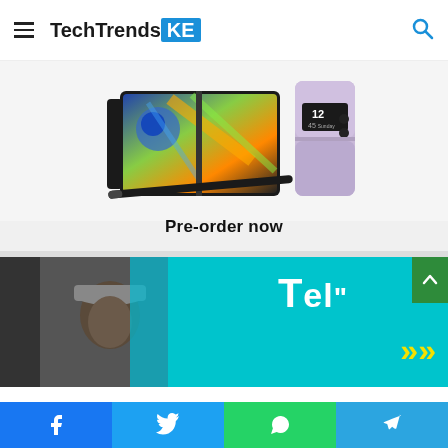TechTrendsKE
[Figure (photo): Samsung Galaxy Z Fold 4 and Galaxy Z Flip 4 foldable smartphones advertisement banner with 'Pre-order now' text]
[Figure (photo): Telkom Kenya advertisement banner with a man wearing a cap against a teal background with yellow arrows and white text]
Social share buttons: Facebook, Twitter, WhatsApp, Telegram